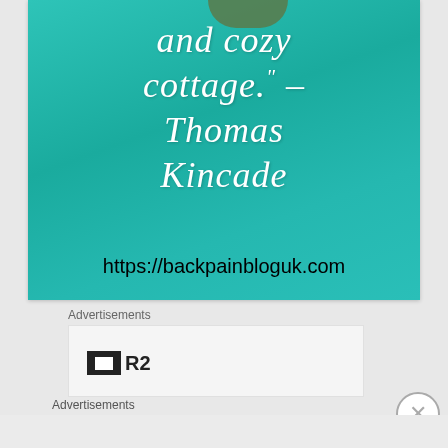[Figure (photo): Teal/turquoise water background with coral visible at top, overlaid with italic white script text quoting 'and cozy cottage." – Thomas Kincade' and URL 'https://backpainbloguk.com' in black text at the bottom of the image.]
Advertisements
[Figure (screenshot): Advertisement box with a small black rectangle icon containing a white inner rectangle, followed by the letter 'R2' in bold black text]
Advertisements